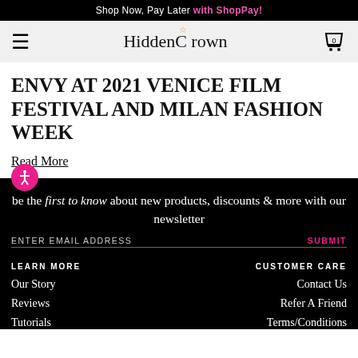Shop Now, Pay Later with ShopPay!
[Figure (logo): HiddenCrown logo with crown icon in header navigation bar]
ENVY AT 2021 VENICE FILM FESTIVAL AND MILAN FASHION WEEK
Read More
be the first to know about new products, discounts & more with our newsletter
ENTER EMAIL ADDRESS
SUBMIT
LEARN MORE
CUSTOMER CARE
Our Story
Contact Us
Reviews
Refer A Friend
Tutorials
Terms/Conditions